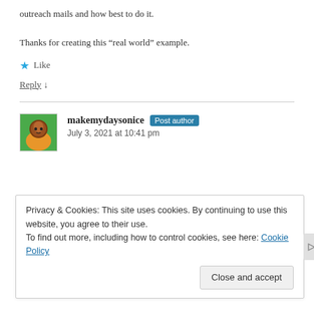outreach mails and how best to do it.
Thanks for creating this “real world” example.
★ Like
Reply ↓
makemydaysonice Post author
July 3, 2021 at 10:41 pm
Privacy & Cookies: This site uses cookies. By continuing to use this website, you agree to their use.
To find out more, including how to control cookies, see here: Cookie Policy
Close and accept